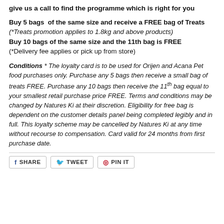give us a call to find the programme which is right for you
Buy 5 bags of the same size and receive a FREE bag of Treats
(*Treats promotion applies to 1.8kg and above products)
Buy 10 bags of the same size and the 11th bag is FREE
(*Delivery fee applies or pick up from store)
Conditions * The loyalty card is to be used for Orijen and Acana Pet food purchases only. Purchase any 5 bags then receive a small bag of treats FREE. Purchase any 10 bags then receive the 11th bag equal to your smallest retail purchase price FREE. Terms and conditions may be changed by Natures Ki at their discretion. Eligibility for free bag is dependent on the customer details panel being completed legibly and in full. This loyalty scheme may be cancelled by Natures Ki at any time without recourse to compensation. Card valid for 24 months from first purchase date.
SHARE TWEET PIN IT